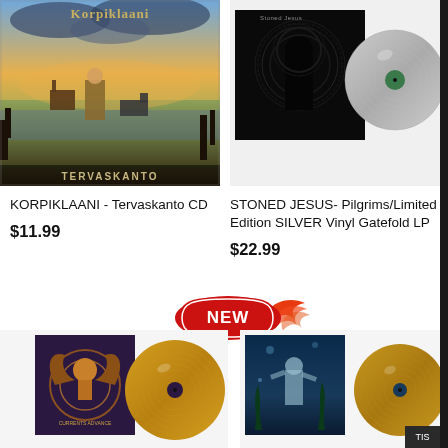[Figure (photo): Korpiklaani - Tervaskanto album cover: man with reindeer and wolf in a winter landscape, text 'TERVASKANTO' at bottom]
[Figure (photo): Stoned Jesus - Pilgrims album cover: dark figure with halo brain design, silver vinyl record showing beside the album]
KORPIKLAANI - Tervaskanto CD
$11.99
STONED JESUS- Pilgrims/Limited Edition SILVER Vinyl Gatefold LP
$22.99
[Figure (photo): NEW badge with flame graphic]
[Figure (photo): Bottom left: Curren$y or similar album on gold vinyl with purple album cover]
[Figure (photo): Bottom right: Album with underwater/dark scene artwork on gold vinyl]